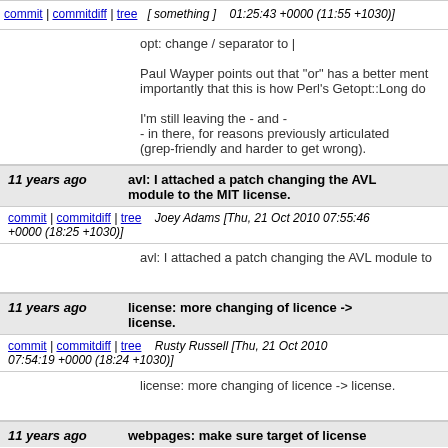01:25:43 +0000 (11:55 +1030)]
opt: change / separator to |

Paul Wayper points out that "or" has a better ment importantly that this is how Perl's Getopt::Long do

I'm still leaving the - and -
- in there, for reasons previously articulated
(grep-friendly and harder to get wrong).
11 years ago    avl: I attached a patch changing the AVL module to the MIT license.
commit | commitdiff | tree   Joey Adams [Thu, 21 Oct 2010 07:55:46 +0000 (18:25 +1030)]
avl: I attached a patch changing the AVL module to
11 years ago    license: more changing of licence -> license.
commit | commitdiff | tree   Rusty Russell [Thu, 21 Oct 2010 07:54:19 +0000 (18:24 +1030)]
license: more changing of licence -> license.
11 years ago    webpages: make sure target of license